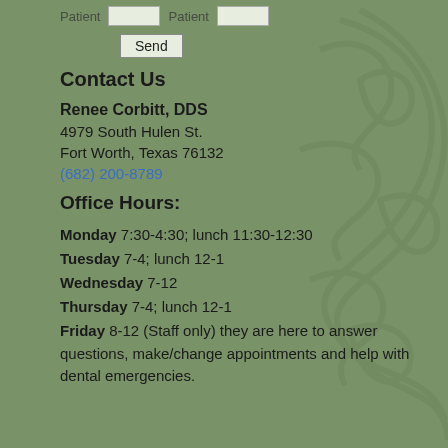Patient [input] Patient [input]
Send
Contact Us
Renee Corbitt, DDS
4979 South Hulen St.
Fort Worth, Texas 76132
(682) 200-8789
Office Hours:
Monday 7:30-4:30; lunch 11:30-12:30
Tuesday 7-4; lunch 12-1
Wednesday 7-12
Thursday 7-4; lunch 12-1
Friday 8-12 (Staff only) they are here to answer questions, make/change appointments and help with dental emergencies.